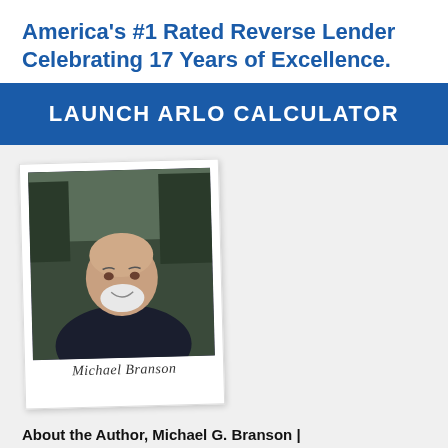America's #1 Rated Reverse Lender Celebrating 17 Years of Excellence.
LAUNCH ARLO CALCULATOR
[Figure (photo): Polaroid-style photo of Michael G. Branson with handwritten signature below]
About the Author, Michael G. Branson | Mike@allreverse.com
Michael G. Branson CEO, All Reverse Mortgage, Inc. and moderator of ARLO™ has 40 years of experience in the mortgage banking industry. He